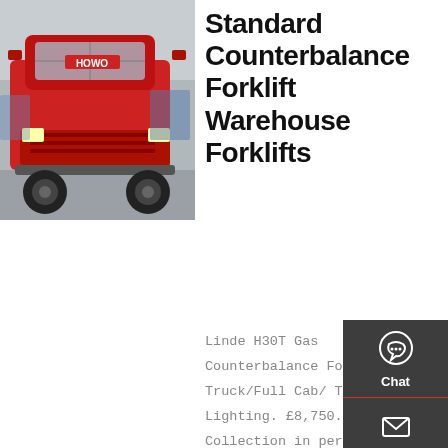[Figure (photo): Photo of a red heavy truck (HOWO branded) parked in a depot/yard area, front-facing view.]
Standard Counterbalance Forklift Warehouse Forklifts
Linde H30T Gas Counterbalance Forklift Truck/Full Cab/ Truck Lighting. £8,750.00. Collection in person. or Best Offer. 61 watching. Toyota 2.5 ton Diesel Counterbalance Forklift Truck/Container Specification Mast.